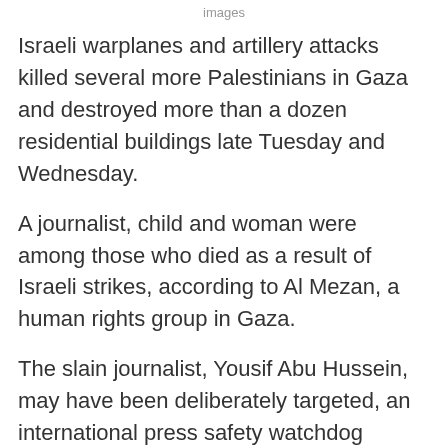images
Israeli warplanes and artillery attacks killed several more Palestinians in Gaza and destroyed more than a dozen residential buildings late Tuesday and Wednesday.
A journalist, child and woman were among those who died as a result of Israeli strikes, according to Al Mezan, a human rights group in Gaza.
The slain journalist, Yousif Abu Hussein, may have been deliberately targeted, an international press safety watchdog suggested.
At least 227 Palestinians in Gaza have been killed since Israel's bombardment began on 10 May, according to the health ministry in the